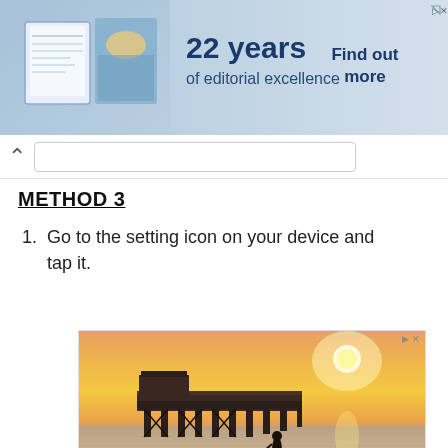[Figure (photo): Top advertisement banner: '22 years of editorial excellence – Find out more']
METHOD 3
Go to the setting icon on your device and tap it.
[Figure (photo): Sunset over ocean with pier and person standing on surfboard in shallow water. Advertisement image for 'Fastest Apply Process'.]
Fastest Apply Process